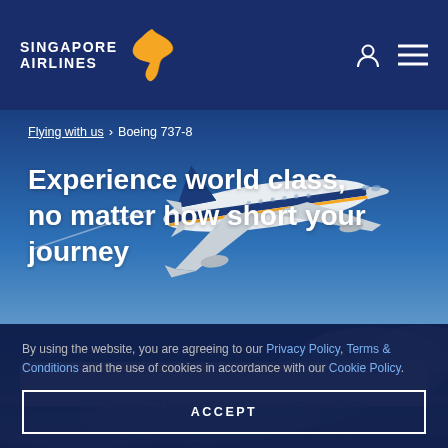Singapore Airlines
Flying with us > Boeing 737-8
Experience world class, no matter how short your journey
[Figure (photo): Singapore Airlines Boeing 737-8 aircraft flying against a blue sky with clouds]
By using the website, you are agreeing to our Privacy Policy, Terms & Conditions and the use of cookies in accordance with our Cookie Policy.
ACCEPT
Our Boeing 737-8 aircraft will transform your flight...
seats designed for enhanced comfort, state-of-